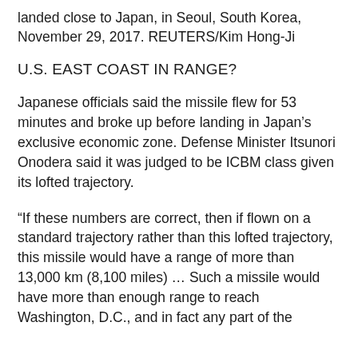landed close to Japan, in Seoul, South Korea, November 29, 2017. REUTERS/Kim Hong-Ji
U.S. EAST COAST IN RANGE?
Japanese officials said the missile flew for 53 minutes and broke up before landing in Japan’s exclusive economic zone. Defense Minister Itsunori Onodera said it was judged to be ICBM class given its lofted trajectory.
“If these numbers are correct, then if flown on a standard trajectory rather than this lofted trajectory, this missile would have a range of more than 13,000 km (8,100 miles) … Such a missile would have more than enough range to reach Washington, D.C., and in fact any part of the